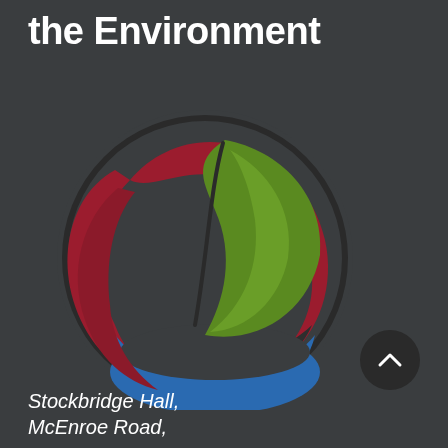the Environment
[Figure (logo): Environmental organization logo: a circular design with a green leaf in the upper area, a dark red/maroon crescent swoosh on the left and lower-right, and a blue crescent at the bottom, all on a dark gray circular background.]
Stockbridge Hall,
McEnroe Road,